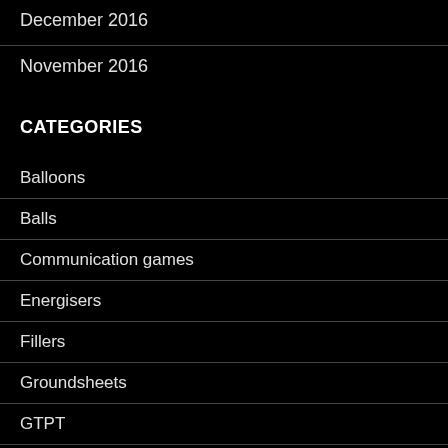December 2016
November 2016
CATEGORIES
Balloons
Balls
Communication games
Energisers
Fillers
Groundsheets
GTPT
Impulse Games